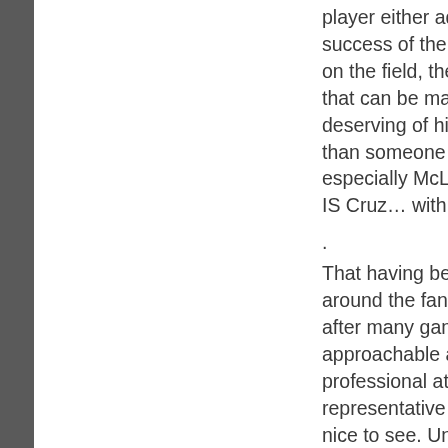player either adds or subtracts to the success of the overall eleven when he is on the field, there is simply no argument that can be made that Cruz is more deserving of his minutes or bench spot than someone like Catic, Pheffer, or especially McLaughlin. (To me, McLaughlin IS Cruz… with skills. Lot's of 'em.)
.
That having been said: I've seen Danny around the fans at different events and after many games, he's as a nice and approachable a guy as you'll ever see in a professional athlete. Truly a terrific representative of the team and it's VERY nice to see. Unfortunately, this qualifies him as a marketing or ticket rep, not as an on